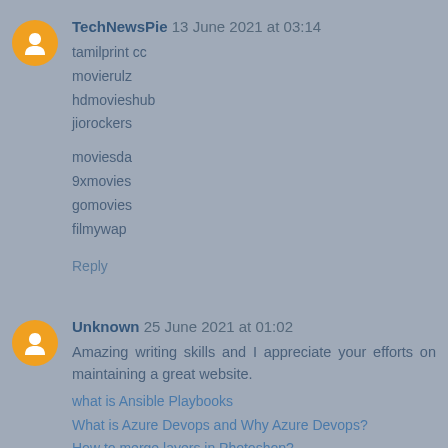TechNewsPie 13 June 2021 at 03:14
tamilprint cc
movierulz
hdmovieshub
jiorockers
moviesda
9xmovies
gomovies
filmywap
Reply
Unknown 25 June 2021 at 01:02
Amazing writing skills and I appreciate your efforts on maintaining a great website.
what is Ansible Playbooks
What is Azure Devops and Why Azure Devops?
How to merge layers in Photoshop?
How to delete Bookmarks on chrome?